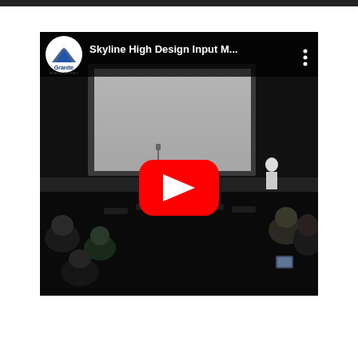[Figure (screenshot): YouTube video thumbnail showing a YouTube player embed with Granite School District logo and title 'Skyline High Design Input M...' in the header. The video shows an auditorium scene in near-darkness with audience members seated and a projection screen at the front. A large red YouTube play button is centered over the video.]